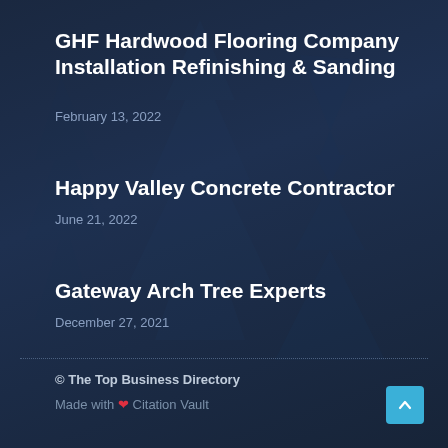GHF Hardwood Flooring Company Installation Refinishing & Sanding
February 13, 2022
Happy Valley Concrete Contractor
June 21, 2022
Gateway Arch Tree Experts
December 27, 2021
© The Top Business Directory
Made with ❤ Citation Vault